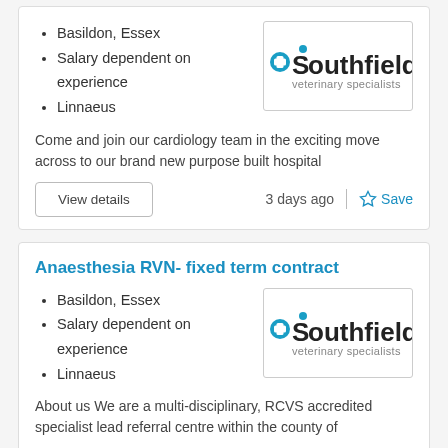Basildon, Essex
Salary dependent on experience
Linnaeus
[Figure (logo): Southfields veterinary specialists logo]
Come and join our cardiology team in the exciting move across to our brand new purpose built hospital
View details
3 days ago
Save
Anaesthesia RVN- fixed term contract
Basildon, Essex
Salary dependent on experience
Linnaeus
[Figure (logo): Southfields veterinary specialists logo]
About us We are a multi-disciplinary, RCVS accredited specialist lead referral centre within the county of